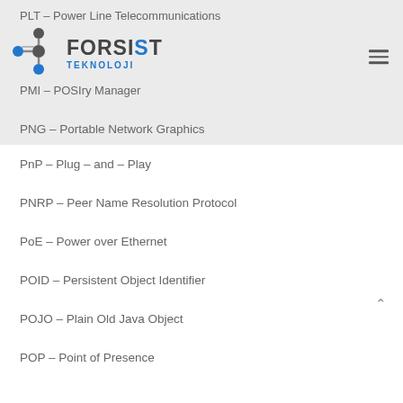PLT – Power Line Telecommunications
[Figure (logo): Forsist Teknoloji logo with connected dots in blue and dark gray, alongside brand name FORSIST TEKNOLOJI]
PMI – POSI...ry Manager
PNG – Portable Network Graphics
PnP – Plug – and – Play
PNRP – Peer Name Resolution Protocol
PoE – Power over Ethernet
POID – Persistent Object Identifier
POJO – Plain Old Java Object
POP – Point of Presence